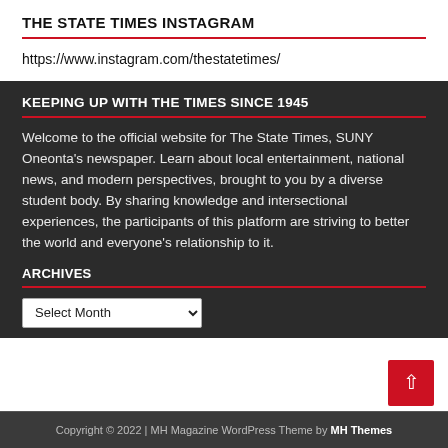THE STATE TIMES INSTAGRAM
https://www.instagram.com/thestatetimes/
KEEPING UP WITH THE TIMES SINCE 1945
Welcome to the official website for The State Times, SUNY Oneonta's newspaper. Learn about local entertainment, national news, and modern perspectives, brought to you by a diverse student body. By sharing knowledge and intersectional experiences, the participants of this platform are striving to better the world and everyone's relationship to it.
ARCHIVES
Copyright © 2022 | MH Magazine WordPress Theme by MH Themes